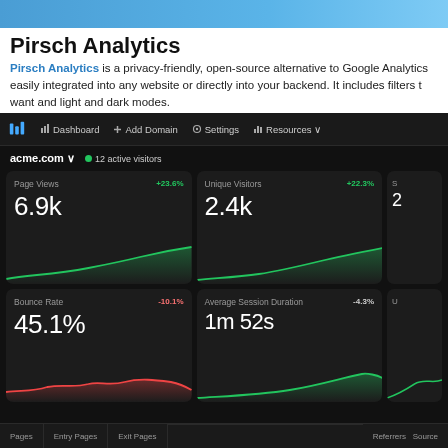Pirsch Analytics
Pirsch Analytics is a privacy-friendly, open-source alternative to Google Analytics easily integrated into any website or directly into your backend. It includes filters t want and light and dark modes.
[Figure (screenshot): Pirsch Analytics dark-mode dashboard screenshot showing navigation bar with Dashboard, Add Domain, Settings, Resources; domain selector showing acme.com with 12 active visitors; four metric cards: Page Views 6.9k (+23.6%), Unique Visitors 2.4k (+22.3%), Bounce Rate 45.1% (-10.1%), Average Session Duration 1m 52s (-4.3%); bottom tabs showing Pages, Entry Pages, Exit Pages, Referrers, Source]